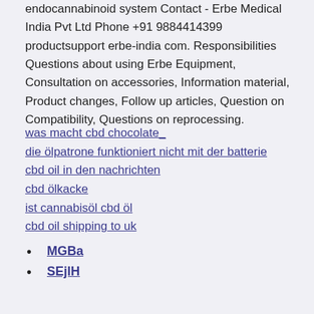endocannabinoid system Contact - Erbe Medical India Pvt Ltd Phone +91 9884414399 productsupport erbe-india com. Responsibilities Questions about using Erbe Equipment, Consultation on accessories, Information material, Product changes, Follow up articles, Question on Compatibility, Questions on reprocessing.
was macht cbd chocolate_
die ölpatrone funktioniert nicht mit der batterie
cbd oil in den nachrichten
cbd ölkacke
ist cannabisöl cbd öl
cbd oil shipping to uk
MGBa
SEjlH